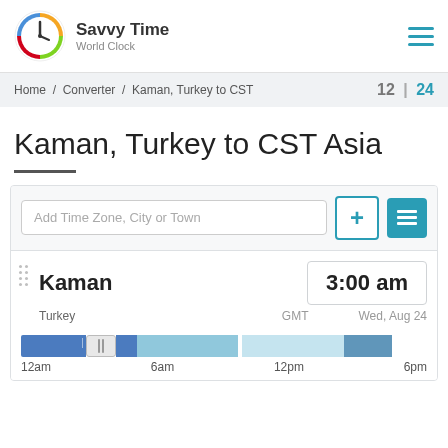[Figure (logo): Savvy Time World Clock logo with colorful clock icon]
Savvy Time World Clock
Home / Converter / Kaman, Turkey to CST
12 | 24
Kaman, Turkey to CST Asia
Add Time Zone, City or Town
Kaman    3:00 am
Turkey    GMT    Wed, Aug 24
[Figure (infographic): 24-hour timeline bar showing day/night periods with slider at 3am position]
12am    6am    12pm    6pm